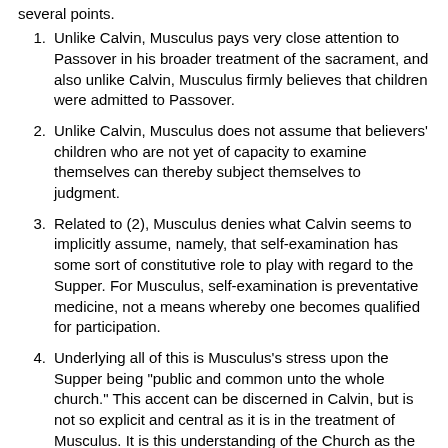several points.
Unlike Calvin, Musculus pays very close attention to Passover in his broader treatment of the sacrament, and also unlike Calvin, Musculus firmly believes that children were admitted to Passover.
Unlike Calvin, Musculus does not assume that believers' children who are not yet of capacity to examine themselves can thereby subject themselves to judgment.
Related to (2), Musculus denies what Calvin seems to implicitly assume, namely, that self-examination has some sort of constitutive role to play with regard to the Supper. For Musculus, self-examination is preventative medicine, not a means whereby one becomes qualified for participation.
Underlying all of this is Musculus's stress upon the Supper being "public and common unto the whole church." This accent can be discerned in Calvin, but is not so explicit and central as it is in the treatment of Musculus. It is this understanding of the Church as the eucharistic community that undergirds the whole of Musculus's position.